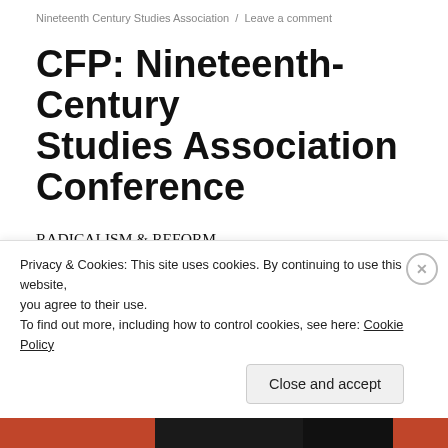Nineteenth Century Studies Association  /  Leave a comment
CFP: Nineteenth-Century Studies Association Conference
RADICALISM & REFORM
The 43rd Annual Conference
Nineteenth–Century Studies Association
Rochester, New York
Privacy & Cookies: This site uses cookies. By continuing to use this website, you agree to their use.
To find out more, including how to control cookies, see here: Cookie Policy